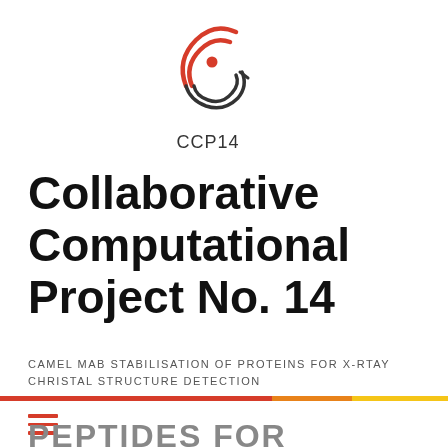[Figure (logo): CCP14 logo: stylized S-shaped symbol with red arc lines and red dot, with text CCP14 below]
Collaborative Computational Project No. 14
CAMEL MAB STABILISATION OF PROTEINS FOR X-RTAY CHRISTAL STRUCTURE DETECTION
PEPTIDES FOR ERECTILE